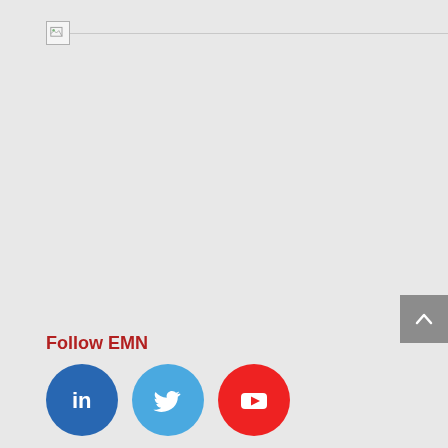[Figure (screenshot): Broken image placeholder icon in top-left area with a horizontal line extending to the right]
[Figure (other): Gray scroll-to-top button with upward chevron arrow on the right side]
Follow EMN
[Figure (logo): LinkedIn logo - white 'in' on dark blue circle]
[Figure (logo): Twitter logo - white bird on light blue circle]
[Figure (logo): YouTube logo - white play button on red circle]